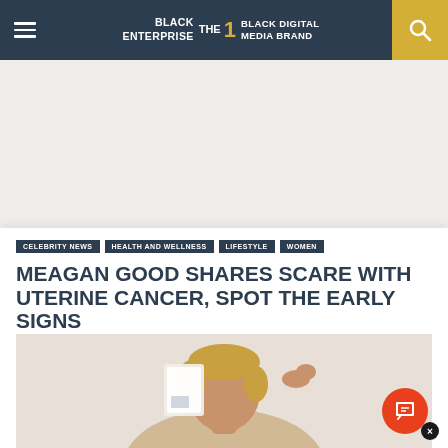BLACK ENTERPRISE THE #1 BLACK DIGITAL MEDIA BRAND
[Figure (other): White/light gray advertisement placeholder area]
CELEBRITY NEWS
HEALTH AND WELLNESS
LIFESTYLE
WOMEN
MEAGAN GOOD SHARES SCARE WITH UTERINE CANCER, SPOT THE EARLY SIGNS
[Figure (photo): Photo of Meagan Good, a woman with short blonde-highlighted hair, holding a white card up near her face, smiling, on a light background]